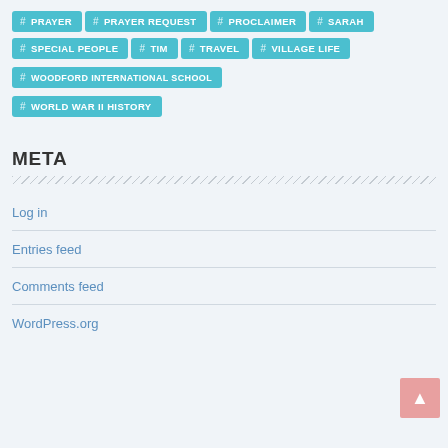# PRAYER
# PRAYER REQUEST
# PROCLAIMER
# SARAH
# SPECIAL PEOPLE
# TIM
# TRAVEL
# VILLAGE LIFE
# WOODFORD INTERNATIONAL SCHOOL
# WORLD WAR II HISTORY
META
Log in
Entries feed
Comments feed
WordPress.org